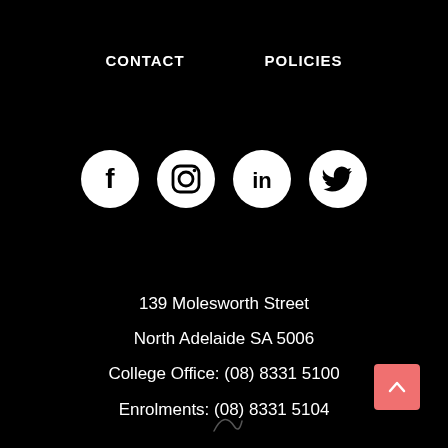CONTACT    POLICIES
[Figure (illustration): Social media icons: Facebook, Instagram, LinkedIn, Twitter — white circles on black background]
139 Molesworth Street
North Adelaide SA 5006
College Office: (08) 8331 5100
Enrolments: (08) 8331 5104
[Figure (illustration): Back to top button — salmon/red square with white upward chevron, bottom right corner]
[Figure (illustration): Faint signature or decorative mark at bottom center]